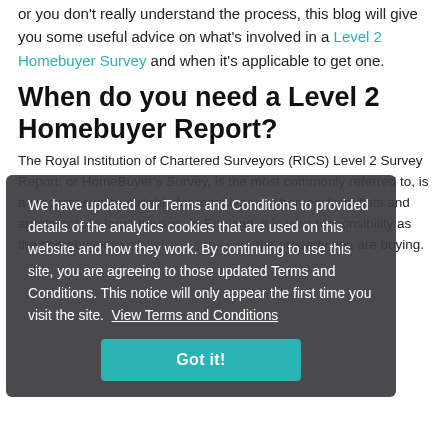or you don't really understand the process, this blog will give you some useful advice on what's involved in a Level 2 Homebuyer Survey and when it's applicable to get one.
When do you need a Level 2 Homebuyer Report?
The Royal Institution of Chartered Surveyors (RICS) Level 2 Survey Report, or HomeBuyer's Survey, is the most commonly referred to, is a property survey suitable for most types of homes, from flats and apartments to large houses. In England, it is your responsibility as the homebuyer to organise a survey on the property you are buying.
We have updated our Terms and Conditions to provided details of the analytics cookies that are used on this website and how they work. By continuing to use this site, you are agreeing to those updated Terms and Conditions. This notice will only appear the first time you visit the site. View Terms and Conditions